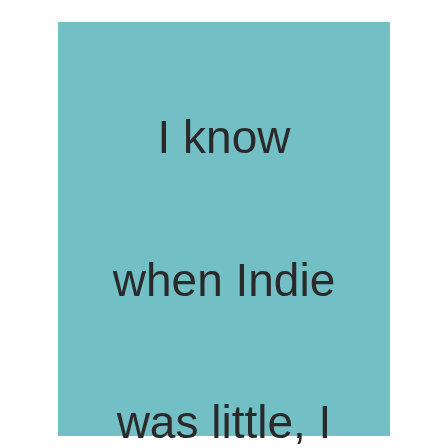I know when Indie was little, I was told: “Six